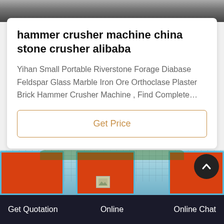[Figure (photo): Top portion of a machine (hammer crusher) — dark industrial equipment photo cropped at top]
hammer crusher machine china stone crusher alibaba
Yihan Small Portable Riverstone Forage Diabase Feldspar Glass Marble Iron Ore Orthoclase Plaster Brick Hammer Crusher Machine , Find Complete…
Get Price
[Figure (photo): Industrial equipment with orange bins/hoppers framed in cyan/blue, outdoor setting with buildings and vegetation in background]
Get Quotation   Online   Online Chat